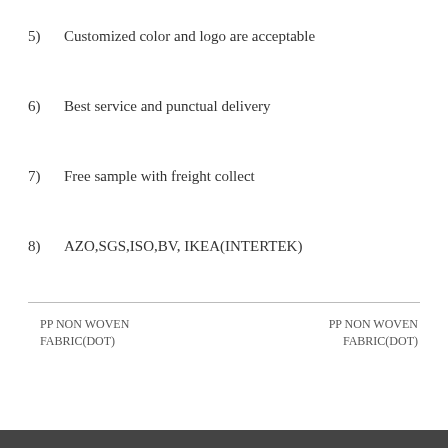5)  Customized color and logo are acceptable
6)  Best service and punctual delivery
7)  Free sample with freight collect
8)  AZO,SGS,ISO,BV, IKEA(INTERTEK)
PP NON WOVEN FABRIC(DOT)    PP NON WOVEN FABRIC(DOT)